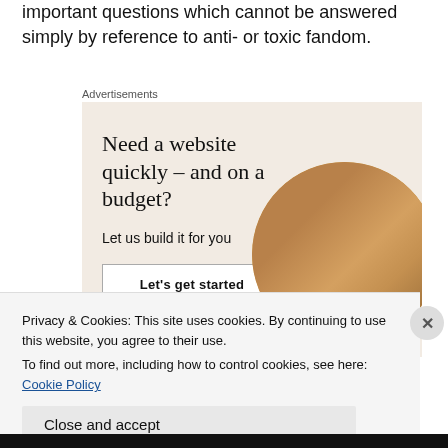important questions which cannot be answered simply by reference to anti- or toxic fandom.
Advertisements
[Figure (infographic): Advertisement banner with beige background. Headline reads 'Need a website quickly – and on a budget?' with subtext 'Let us build it for you' and a 'Let's get started' button. A circular photo on the right shows a person's hands working on a laptop.]
Privacy & Cookies: This site uses cookies. By continuing to use this website, you agree to their use.
To find out more, including how to control cookies, see here: Cookie Policy
Close and accept